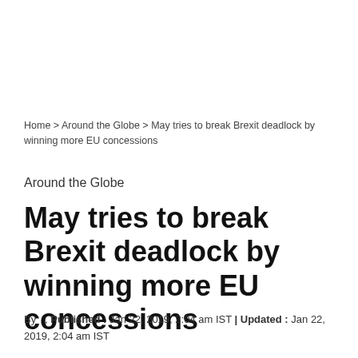Home > Around the Globe > May tries to break Brexit deadlock by winning more EU concessions
Around the Globe
May tries to break Brexit deadlock by winning more EU concessions
By   , Published : Jan 22, 2019, 2:04 am IST | Updated : Jan 22, 2019, 2:04 am IST